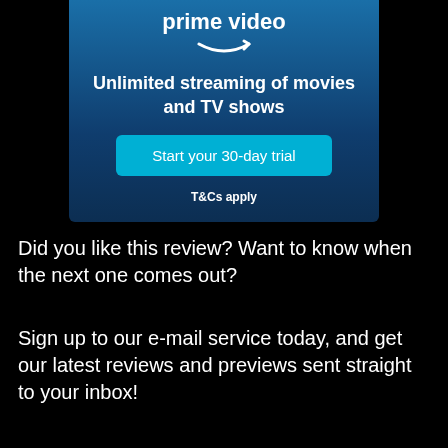[Figure (screenshot): Amazon Prime Video advertisement banner with blue gradient background, showing 'prime video' logo with Amazon arrow, 'Unlimited streaming of movies and TV shows' text, a 'Start your 30-day trial' button, and 'T&Cs apply' text]
Did you like this review? Want to know when the next one comes out?
Sign up to our e-mail service today, and get our latest reviews and previews sent straight to your inbox!